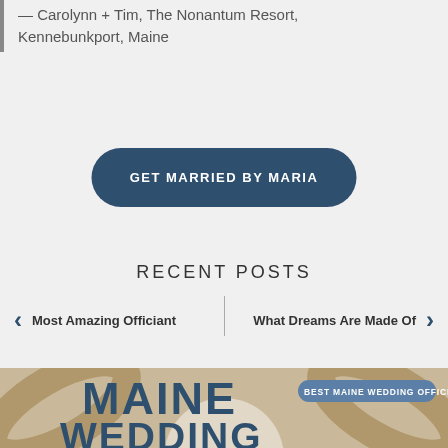— Carolynn + Tim, The Nonantum Resort, Kennebunkport, Maine
GET MARRIED BY MARIA
RECENT POSTS
Most Amazing Officiant
What Dreams Are Made Of
[Figure (infographic): Maine Wedding text overlay on tan/beige background with geometric shapes and a badge reading BEST MAINE WEDDING OFFICIANT]